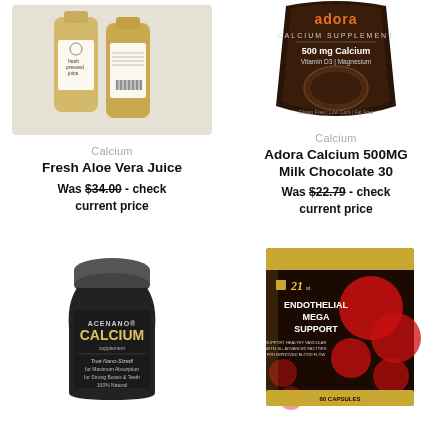[Figure (photo): Two bottles of fresh pressed juice with minimal white labels on a light gray background]
Calcium
Fresh Aloe Vera Juice
Was $34.00 - check current price
[Figure (photo): Brown pouch of Adora Calcium Supplement 500mg Calcium with Vitamin D3 and Magnesium]
Calcium
Adora Calcium 500MG Milk Chocolate 30
Was $22.79 - check current price
[Figure (photo): Dark bottle of ACENANO Calcium supplement - True Nano-Sized for Maximum Absorption, Strong Bones & Teeth, 100% Natural]
[Figure (photo): Black and red box of Endothelial Mega Support supplement with circular design elements]